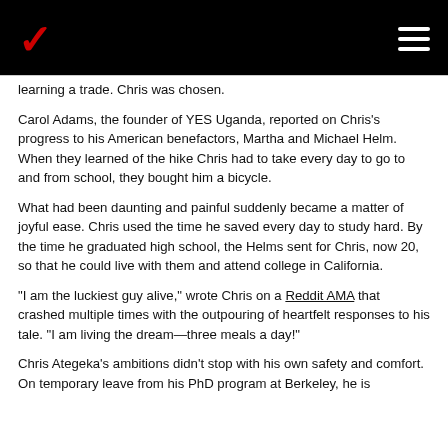Verizon logo header with hamburger menu
learning a trade. Chris was chosen.
Carol Adams, the founder of YES Uganda, reported on Chris's progress to his American benefactors, Martha and Michael Helm. When they learned of the hike Chris had to take every day to go to and from school, they bought him a bicycle.
What had been daunting and painful suddenly became a matter of joyful ease. Chris used the time he saved every day to study hard. By the time he graduated high school, the Helms sent for Chris, now 20, so that he could live with them and attend college in California.
"I am the luckiest guy alive," wrote Chris on a Reddit AMA that crashed multiple times with the outpouring of heartfelt responses to his tale. "I am living the dream—three meals a day!"
Chris Ategeka's ambitions didn't stop with his own safety and comfort. On temporary leave from his PhD program at Berkeley, he is